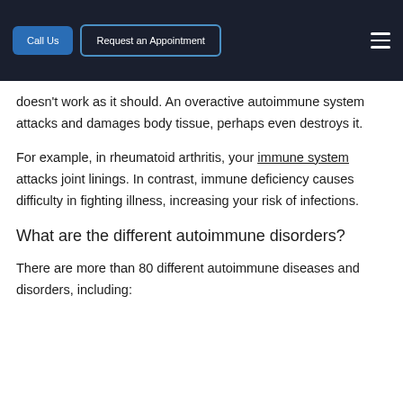Call Us | Request an Appointment
doesn't work as it should. An overactive autoimmune system attacks and damages body tissue, perhaps even destroys it.
For example, in rheumatoid arthritis, your immune system attacks joint linings. In contrast, immune deficiency causes difficulty in fighting illness, increasing your risk of infections.
What are the different autoimmune disorders?
There are more than 80 different autoimmune diseases and disorders, including: